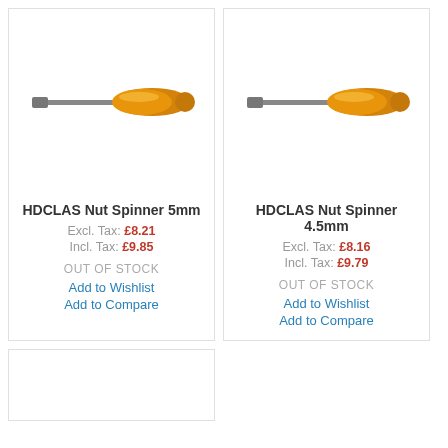[Figure (photo): HDCLAS Nut Spinner 5mm product image - a nut spinner tool with orange/amber handle and grey shaft]
HDCLAS Nut Spinner 5mm
Excl. Tax: £8.21
Incl. Tax: £9.85
OUT OF STOCK
Add to Wishlist
Add to Compare
[Figure (photo): HDCLAS Nut Spinner 4.5mm product image - a nut spinner tool with orange/amber handle and grey shaft]
HDCLAS Nut Spinner 4.5mm
Excl. Tax: £8.16
Incl. Tax: £9.79
OUT OF STOCK
Add to Wishlist
Add to Compare